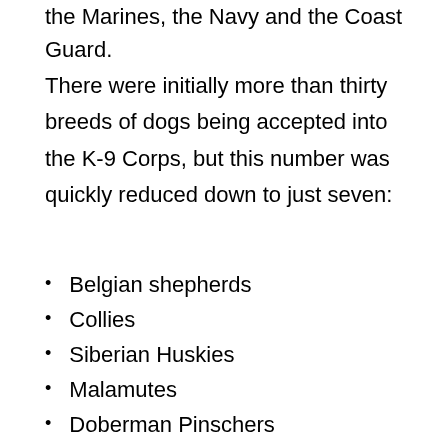the Marines, the Navy and the Coast Guard.
There were initially more than thirty breeds of dogs being accepted into the K-9 Corps, but this number was quickly reduced down to just seven:
Belgian shepherds
Collies
Siberian Huskies
Malamutes
Doberman Pinschers
German Shepherds
Eskimo dogs